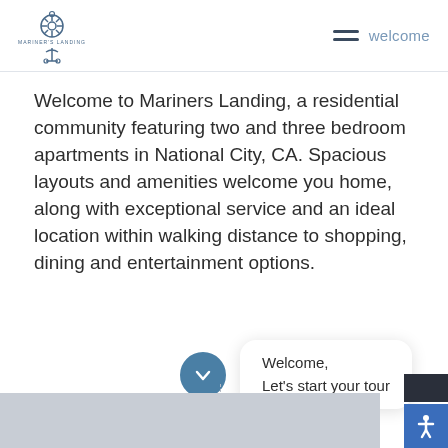[Figure (logo): Mariner's Landing logo with ship wheel and anchor, navy blue color]
welcome
Welcome to Mariners Landing, a residential community featuring two and three bedroom apartments in National City, CA. Spacious layouts and amenities welcome you home, along with exceptional service and an ideal location within walking distance to shopping, dining and entertainment options.
[Figure (infographic): A circular button with a checkmark/chevron icon and a tooltip balloon reading 'Welcome, Let's start your tour']
[Figure (photo): Bottom partial strip showing a light-colored outdoor/residential scene]